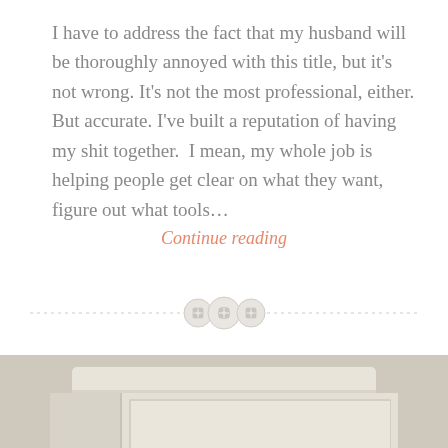I have to address the fact that my husband will be thoroughly annoyed with this title, but it's not wrong. It's not the most professional, either. But accurate. I've built a reputation of having my shit together.  I mean, my whole job is helping people get clear on what they want, figure out what tools…
Continue reading
[Figure (illustration): Decorative divider with three button icons centered on a dashed horizontal line]
[Figure (photo): Bottom portion of a white/cream colored wooden desk or furniture piece against a light gray-beige background]